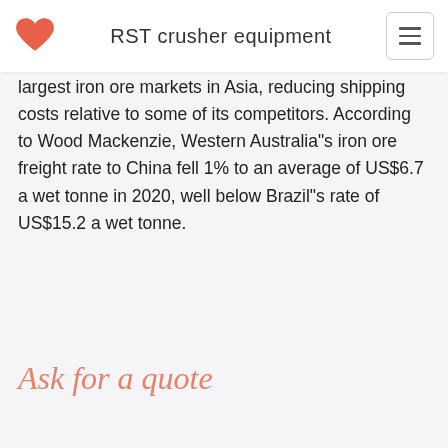RST crusher equipment
largest iron ore markets in Asia, reducing shipping costs relative to some of its competitors. According to Wood Mackenzie, Western Australia"s iron ore freight rate to China fell 1% to an average of US$6.7 a wet tonne in 2020, well below Brazil"s rate of US$15.2 a wet tonne.
Ask for a quote